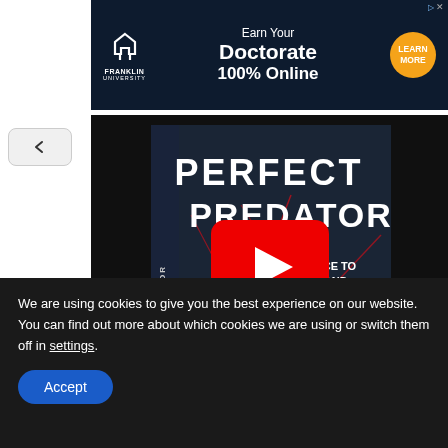[Figure (advertisement): Franklin University advertisement: Earn Your Doctorate 100% Online, with a Learn More button]
[Figure (screenshot): YouTube video thumbnail showing a book titled 'Perfect Predator: A Scientist's Race to Save Her Husband from a Deadly Superbug' with a red YouTube play button overlay]
We are using cookies to give you the best experience on our website. You can find out more about which cookies we are using or switch them off in settings.